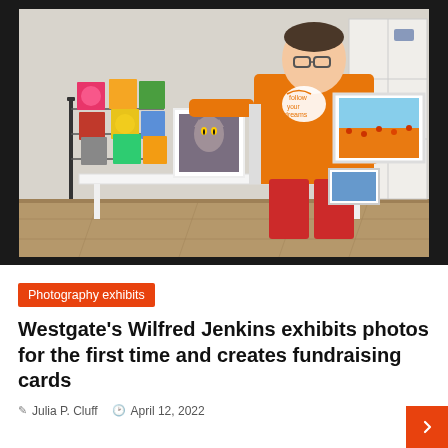[Figure (photo): A person wearing an orange 'follow your dreams' t-shirt and red pants sits on a white table in a shop, holding a framed photo of a field. Beside them is a wire display rack with colorful greeting cards featuring flowers, sunflowers, and cats. White picture frames and shelving units are visible in the background.]
Photography exhibits
Westgate's Wilfred Jenkins exhibits photos for the first time and creates fundraising cards
Julia P. Cluff   April 12, 2022